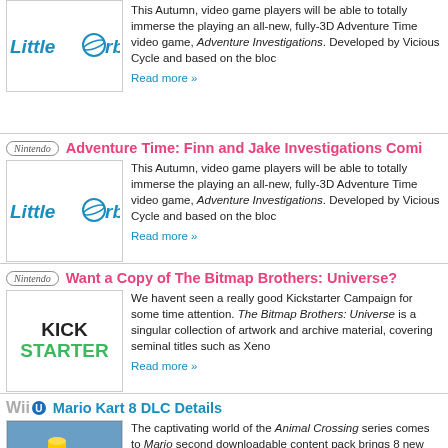[Figure (screenshot): Top partial article snippet showing Little Orbit logo and text about Adventure Time video game]
This Autumn, video game players will be able to totally immerse the playing an all-new, fully-3D Adventure Time video game, Adventure Investigations. Developed by Vicious Cycle and based on the bloc
Read more »
[Figure (logo): Nintendo badge logo (oval pill shape)]
Adventure Time: Finn and Jake Investigations Comi
[Figure (logo): Little Orbit logo with blue orbital circle]
This Autumn, video game players will be able to totally immerse the playing an all-new, fully-3D Adventure Time video game, Adventure Investigations. Developed by Vicious Cycle and based on the bloc
Read more »
[Figure (logo): Nintendo badge logo (oval pill shape)]
Want a Copy of The Bitmap Brothers: Universe?
[Figure (logo): Kickstarter logo in black and green]
We havent seen a really good Kickstarter Campaign for some time attention. The Bitmap Brothers: Universe is a singular collection of artwork and archive material, covering seminal titles such as Xeno
Read more »
[Figure (logo): Wii U logo badge]
Mario Kart 8 DLC Details
[Figure (screenshot): Mario Kart 8 screenshot showing Mario in kart]
The captivating world of the Animal Crossing series comes to Mario second downloadable content pack brings 8 new courses, 3 new ch the gravity-defying racing game available exclusively on Wii U.
Read more »
[Figure (logo): Wii U logo badge]
Guitar Hero Live Coming to Wii U
[Figure (screenshot): Guitar Hero Live screenshot]
Guitar Hero, the pop culture phenomenon that exploded onto the s interact with music, is back, with true, breakthrough innovation that